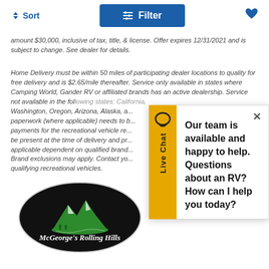Sort   Filter   ♥
amount $30,000, inclusive of tax, title, & license. Offer expires 12/31/2021 and is subject to change. See dealer for details.
Home Delivery must be within 50 miles of participating dealer locations to quality for free delivery and is $2.65/mile thereafter. Service only available in states where Camping World, Gander RV or affiliated brands has an active dealership. Service not available in the following states: California, Washington, Oregon, Arizona, Alaska, a... paperwork (where applicable) needs to b... payments for the recreational vehicle re... be present at the time of delivery and pr... applicable dependent on qualified brand... Brand exclusions may apply. Contact yo... qualifying recreational vehicles.
Our team is available and happy to help. Questions about an RV? How can I help you today?
[Figure (logo): McGeorge's Rolling Hills oval logo with mountain illustration on black background]